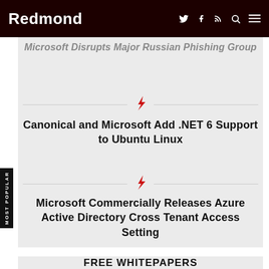Redmond
Microsoft Disrupts Major Russian Phishing Group
Canonical and Microsoft Add .NET 6 Support to Ubuntu Linux
Microsoft Commercially Releases Azure Active Directory Cross Tenant Access Setting
FREE WHITEPAPERS